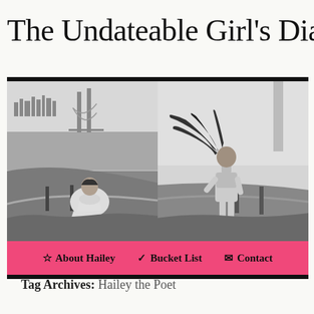The Undateable Girl's Diar
[Figure (photo): Blog header banner with two black and white photos side by side. Left photo: a person wearing a Superman cape sitting on a hillside overlooking the Golden Gate Bridge and San Francisco Bay. Right photo: a woman standing on a similar hillside with her hair blowing in the wind. Below the photos is a pink navigation bar with links: About Hailey, Bucket List, Contact.]
Tag Archives: Hailey the Poet